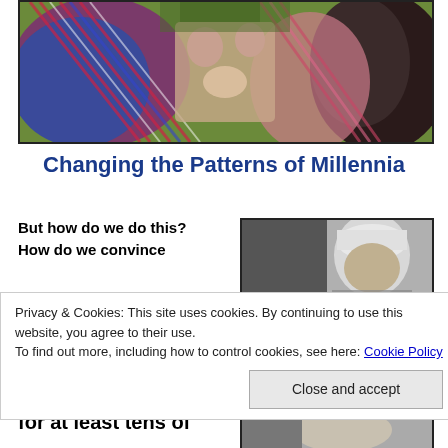[Figure (photo): Colorful ethnographic photo showing people with elaborate feathered headdresses and body paint in an outdoor setting]
Changing the Patterns of Millennia
But how do we do this?
How do we convince
[Figure (photo): Black and white photo of a person with head bandaged or wrapped]
Privacy & Cookies: This site uses cookies. By continuing to use this website, you agree to their use.
To find out more, including how to control cookies, see here: Cookie Policy
Close and accept
for at least tens of
[Figure (photo): Black and white photo partially visible at bottom right]